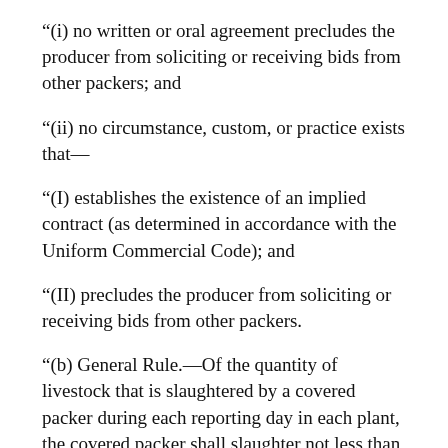“(i) no written or oral agreement precludes the producer from soliciting or receiving bids from other packers; and
“(ii) no circumstance, custom, or practice exists that—
“(I) establishes the existence of an implied contract (as determined in accordance with the Uniform Commercial Code); and
“(II) precludes the producer from soliciting or receiving bids from other packers.
“(b) General Rule.—Of the quantity of livestock that is slaughtered by a covered packer during each reporting day in each plant, the covered packer shall slaughter not less than the